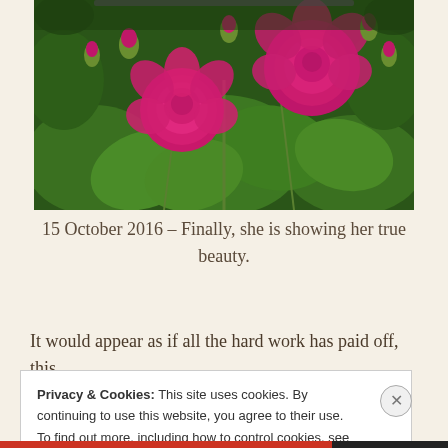[Figure (photo): Photograph of pink roses and flower buds among dark green leaves on a climbing rose plant or bush]
15 October 2016 – Finally, she is showing her true beauty.
It would appear as if all the hard work has paid off, this
Privacy & Cookies: This site uses cookies. By continuing to use this website, you agree to their use.
To find out more, including how to control cookies, see here: Cookie Policy
Close and accept